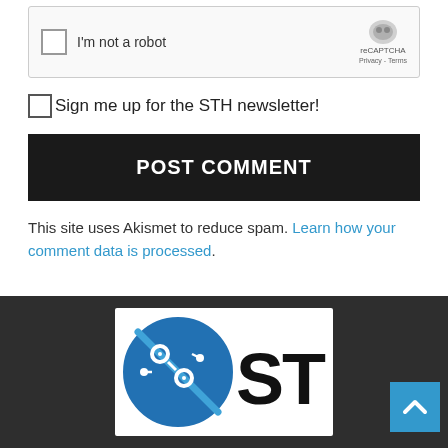[Figure (screenshot): reCAPTCHA widget showing 'I'm not a robot' checkbox with reCAPTCHA branding (Privacy - Terms)]
Sign me up for the STH newsletter!
POST COMMENT
This site uses Akismet to reduce spam. Learn how your comment data is processed.
[Figure (logo): STH (ServeTheHome) logo — blue circuit-board circle icon with STH text in bold black]